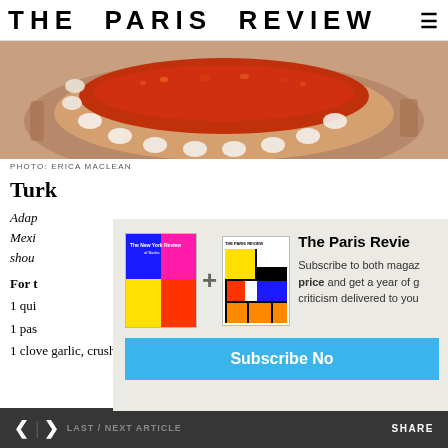THE PARIS REVIEW
[Figure (photo): Close-up photo of a dish with red sauce/spice mixture in a decorative plate with white coin shapes around the border]
PHOTO: ERICA MACLEAN
Turk
Adapted from a Mexican recipe, shou
For t
1 qui
1 pas
1 clove garlic, crushed
The Paris Review — Subscribe to both magazines at one price and get a year of great fiction, poetry, and criticism delivered to you. Subscribe Now
< > LAST / NEXT ARTICLE    SHARE